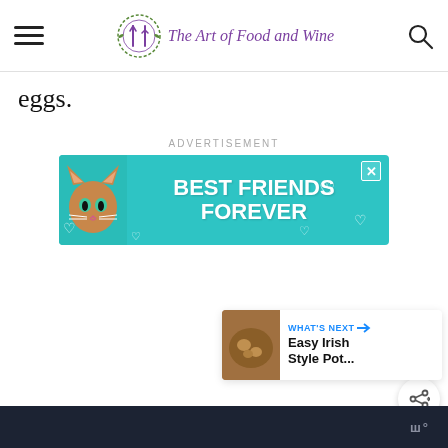The Art of Food and Wine
eggs.
[Figure (screenshot): Advertisement banner reading BEST FRIENDS FOREVER on a teal background with a cat illustration and heart decorations]
[Figure (infographic): Side floating buttons: heart/like button (blue circle), count 7, and share button]
[Figure (infographic): What's Next card: thumbnail of food dish, label WHAT'S NEXT with arrow, text Easy Irish Style Pot...]
www